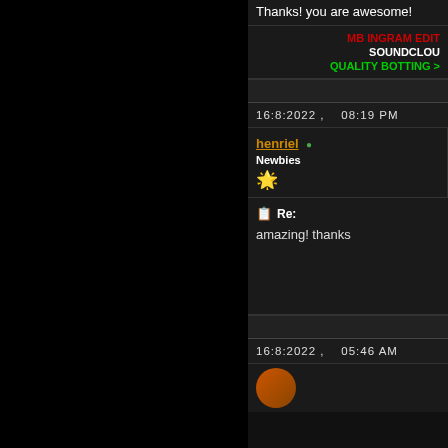Thanks! you are awesome!
MB INGRAM EDIT
SOUNDCLOUD
QUALITY BOTTING
16:8:2022 ,    08:19 PM
henriel • Newbies
Re:
amazing! thanks
16:8:2022 ,    05:46 AM